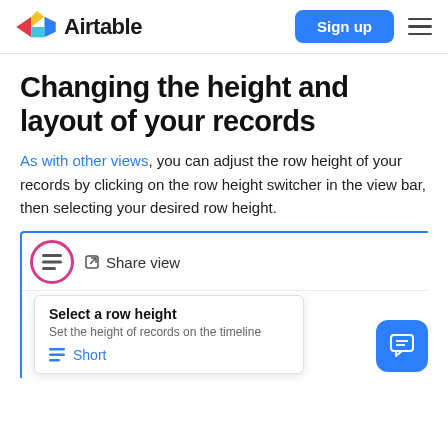Airtable — Sign up
Changing the height and layout of your records
As with other views, you can adjust the row height of your records by clicking on the row height switcher in the view bar, then selecting your desired row height.
[Figure (screenshot): Screenshot of Airtable UI showing the row height switcher icon (highlighted with a pink circle) and a dropdown menu labeled 'Select a row height' with subtitle 'Set the height of records on the timeline' and option 'Short']